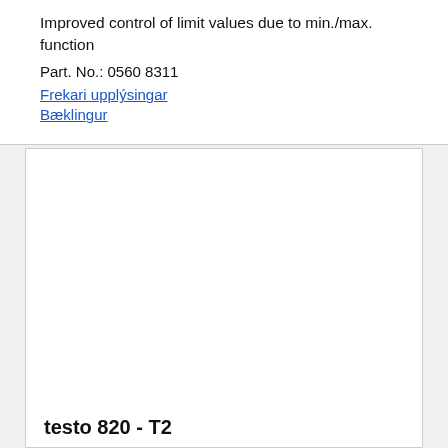Improved control of limit values due to min./max. function
Part. No.: 0560 8311
Frekari upplýsingar
Bæklingur
[Figure (other): White rectangular area, mostly blank, part of a product listing or catalog layout]
testo 820 - T2